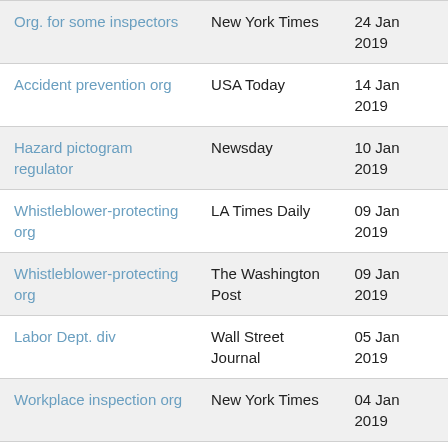| Org. for some inspectors | New York Times | 24 Jan 2019 |
| Accident prevention org | USA Today | 14 Jan 2019 |
| Hazard pictogram regulator | Newsday | 10 Jan 2019 |
| Whistleblower-protecting org | LA Times Daily | 09 Jan 2019 |
| Whistleblower-protecting org | The Washington Post | 09 Jan 2019 |
| Labor Dept. div | Wall Street Journal | 05 Jan 2019 |
| Workplace inspection org | New York Times | 04 Jan 2019 |